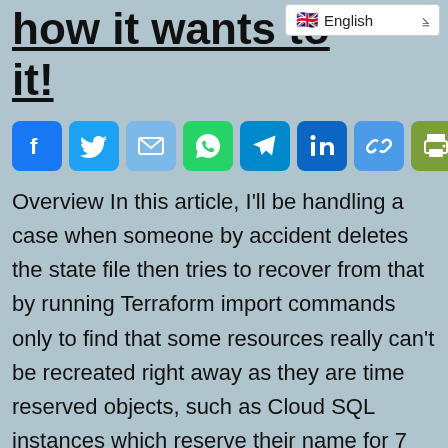how it wants to it!
[Figure (infographic): Row of social sharing icon buttons: Facebook, Twitter, Email, WhatsApp, Telegram, LinkedIn, Link, Print, More]
Overview In this article, I'll be handling a case when someone by accident deletes the state file then tries to recover from that by running Terraform import commands only to find that some resources really can't be recreated right away as they are time reserved objects, such as Cloud SQL instances which reserve their name for 7 days before…
Continue reading